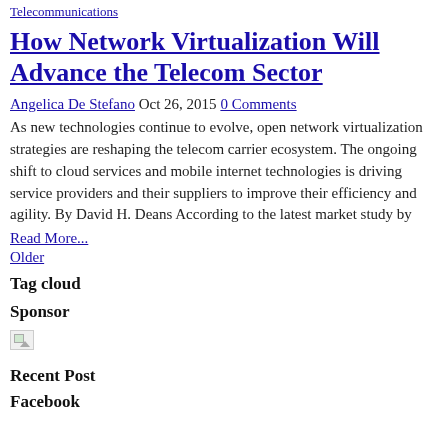Telecommunications
How Network Virtualization Will Advance the Telecom Sector
Angelica De Stefano Oct 26, 2015 0 Comments
As new technologies continue to evolve, open network virtualization strategies are reshaping the telecom carrier ecosystem. The ongoing shift to cloud services and mobile internet technologies is driving service providers and their suppliers to improve their efficiency and agility. By David H. Deans According to the latest market study by
Read More...
Older
Tag cloud
Sponsor
[Figure (photo): Broken/placeholder image icon]
Recent Post
Facebook